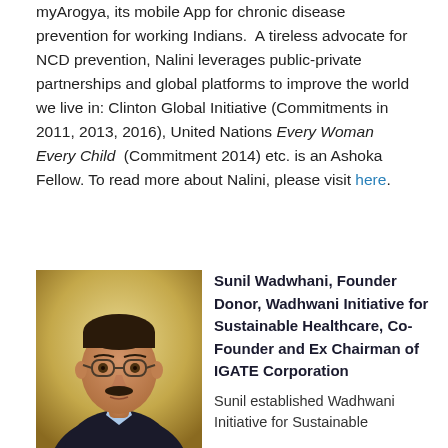myArogya, its mobile App for chronic disease prevention for working Indians. A tireless advocate for NCD prevention, Nalini leverages public-private partnerships and global platforms to improve the world we live in: Clinton Global Initiative (Commitments in 2011, 2013, 2016), United Nations Every Woman Every Child (Commitment 2014) etc. is an Ashoka Fellow. To read more about Nalini, please visit here.
[Figure (photo): Portrait photo of Sunil Wadwhani, a middle-aged man with glasses and mustache wearing a dark blazer]
Sunil Wadwhani, Founder Donor, Wadhwani Initiative for Sustainable Healthcare, Co-Founder and Ex Chairman of IGATE Corporation
Sunil established Wadhwani Initiative for Sustainable